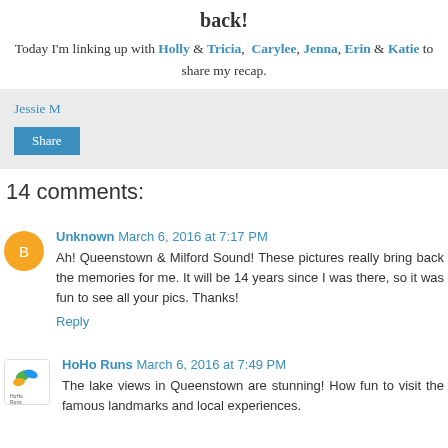back!
Today I'm linking up with Holly & Tricia, Carylee, Jenna, Erin & Katie to share my recap.
Jessie M
Share
14 comments:
Unknown March 6, 2016 at 7:17 PM
Ah! Queenstown & Milford Sound! These pictures really bring back the memories for me. It will be 14 years since I was there, so it was fun to see all your pics. Thanks!
Reply
HoHo Runs March 6, 2016 at 7:49 PM
The lake views in Queenstown are stunning! How fun to visit the famous landmarks and local experiences.